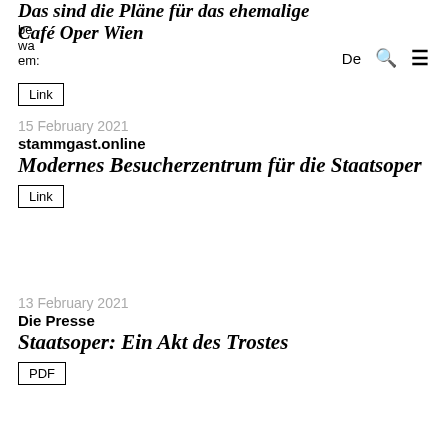Das sind die Pläne für das ehemalige Café Oper Wien
be
wa
em:
De  🔍  ≡
Link
15 February 2021
stammgast.online
Modernes Besucherzentrum für die Staatsoper
Link
13 February 2021
Die Presse
Staatsoper: Ein Akt des Trostes
PDF